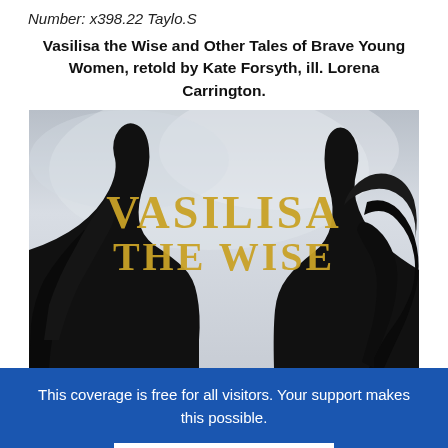Number: x398.22 Taylo.S
Vasilisa the Wise and Other Tales of Brave Young Women, retold by Kate Forsyth, ill. Lorena Carrington.
[Figure (photo): Book cover of 'Vasilisa the Wise' showing two female silhouettes with flowing hair against a cloudy sky background, with the title in large gold letters.]
This coverage is free for all visitors. Your support makes this possible.
SUBSCRIBE